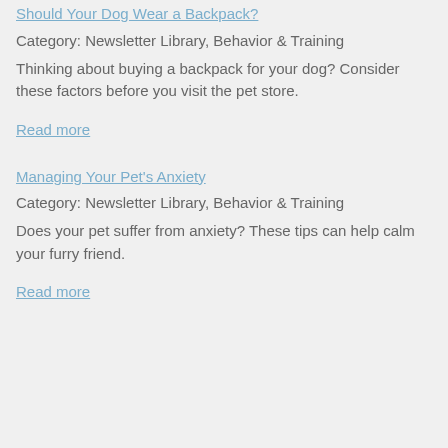Should Your Dog Wear a Backpack?
Category: Newsletter Library, Behavior & Training
Thinking about buying a backpack for your dog? Consider these factors before you visit the pet store.
Read more
Managing Your Pet's Anxiety
Category: Newsletter Library, Behavior & Training
Does your pet suffer from anxiety? These tips can help calm your furry friend.
Read more